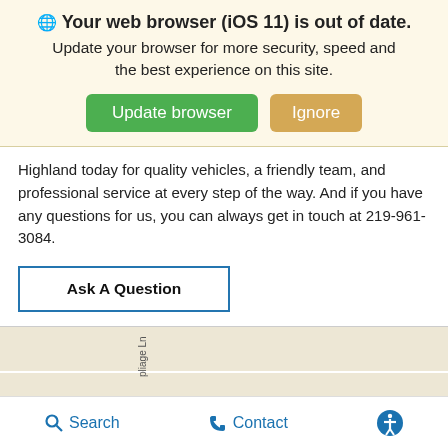🌐 Your web browser (iOS 11) is out of date. Update your browser for more security, speed and the best experience on this site.
Update browser | Ignore
Highland today for quality vehicles, a friendly team, and professional service at every step of the way. And if you have any questions for us, you can always get in touch at 219-961-3084.
Ask A Question
[Figure (map): Partial street map showing road names including: pliage Ln, Spri, 400k St, 40th Pl, and High Schools, THE]
Get Directions
Search  Contact  [accessibility icon]